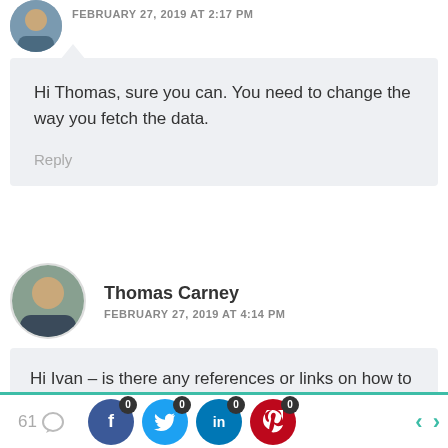FEBRUARY 27, 2019 AT 2:17 PM
Hi Thomas, sure you can. You need to change the way you fetch the data.
Reply
Thomas Carney
FEBRUARY 27, 2019 AT 4:14 PM
Hi Ivan – is there any references or links on how to do this? I am thinking about adding withSelect() in the edit property then using getEntityRecords() for bringing in the custom post type. If there is a better or
61  0  0  0